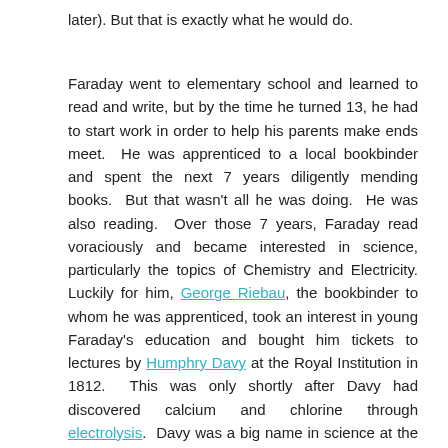later). But that is exactly what he would do.
Faraday went to elementary school and learned to read and write, but by the time he turned 13, he had to start work in order to help his parents make ends meet.  He was apprenticed to a local bookbinder and spent the next 7 years diligently mending books.  But that wasn't all he was doing.  He was also reading.  Over those 7 years, Faraday read voraciously and became interested in science, particularly the topics of Chemistry and Electricity. Luckily for him, George Riebau, the bookbinder to whom he was apprenticed, took an interest in young Faraday's education and bought him tickets to lectures by Humphry Davy at the Royal Institution in 1812.  This was only shortly after Davy had discovered calcium and chlorine through electrolysis.  Davy was a big name in science at the time, comparable to today's Stephen Hawking, Neil Degrasse-Tyson, or Jane Gooddall, so it was with wide eyes that young Faraday attended.  He was so blown away by what he saw and heard that he faithfully wrote notes and drew diagrams.